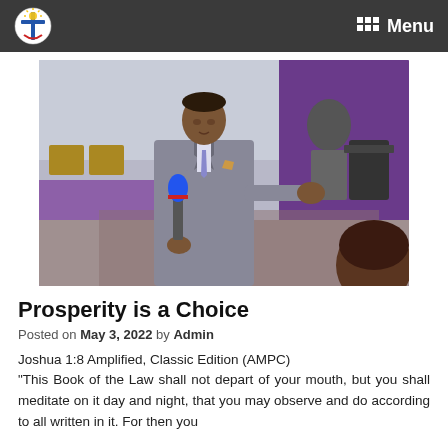Menu
[Figure (photo): A man in a grey suit holding a blue microphone, speaking at a church event with purple decorations in the background.]
Prosperity is a Choice
Posted on May 3, 2022 by Admin
Joshua 1:8 Amplified, Classic Edition (AMPC)
"This Book of the Law shall not depart of your mouth, but you shall meditate on it day and night, that you may observe and do according to all written in it. For then you